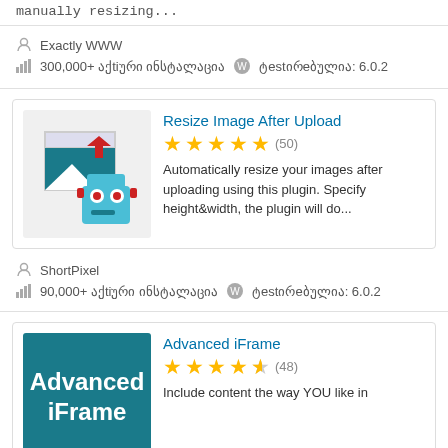manually resizing...
Exactly WWW
300,000+ აქtiური ინსტალაცია  ტestირeბულია: 6.0.2
Resize Image After Upload
★★★★★ (50)
Automatically resize your images after uploading using this plugin. Specify height&width, the plugin will do...
ShortPixel
90,000+ აქtiური ინსტალაცია  ტestირeბულია: 6.0.2
[Figure (illustration): Plugin thumbnail showing image resize icon with robot]
Advanced iFrame
★★★★½ (48)
Include content the way YOU like in
[Figure (illustration): Advanced iFrame plugin logo with teal background and white bold text]